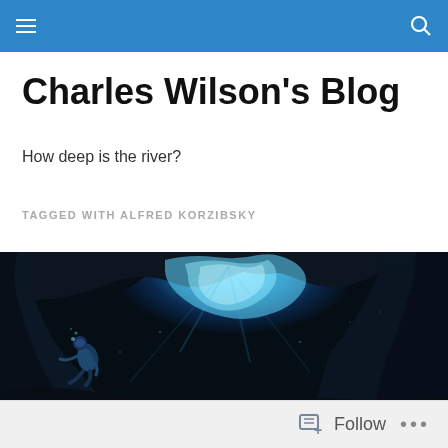Charles Wilson's Blog — navigation bar
Charles Wilson's Blog
How deep is the river?
TAGGED WITH ALFRED KORZIBSKY
[Figure (photo): Underwater cave diving photo showing a scuba diver inside a dark underwater cavern with bright blue light streaming through an opening in the cave ceiling, illuminating the rocky cave walls]
Follow ...